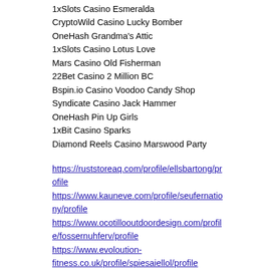1xSlots Casino Esmeralda
CryptoWild Casino Lucky Bomber
OneHash Grandma's Attic
1xSlots Casino Lotus Love
Mars Casino Old Fisherman
22Bet Casino 2 Million BC
Bspin.io Casino Voodoo Candy Shop
Syndicate Casino Jack Hammer
OneHash Pin Up Girls
1xBit Casino Sparks
Diamond Reels Casino Marswood Party
https://ruststoreaq.com/profile/ellsbartong/profile
https://www.kauneve.com/profile/seufernationey/profile
https://www.ocotillooutdoordesign.com/profile/fossernuhferv/profile
https://www.evoloution-fitness.co.uk/profile/spiesaiellol/profile